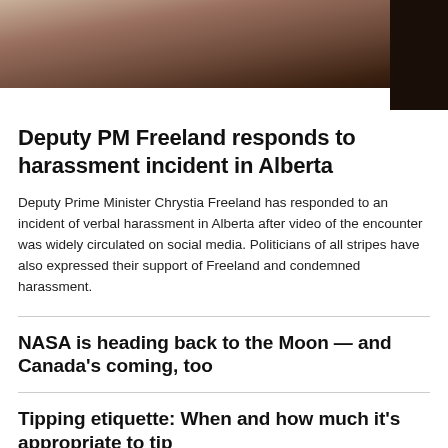[Figure (photo): Partial photo of a person with long hair, cropped at the top of the page]
Deputy PM Freeland responds to harassment incident in Alberta
Deputy Prime Minister Chrystia Freeland has responded to an incident of verbal harassment in Alberta after video of the encounter was widely circulated on social media. Politicians of all stripes have also expressed their support of Freeland and condemned harassment.
NASA is heading back to the Moon — and Canada's coming, too
Tipping etiquette: When and how much it's appropriate to tip
Quebec election campaign to officially kick off today ahead of Oct. 3 vote